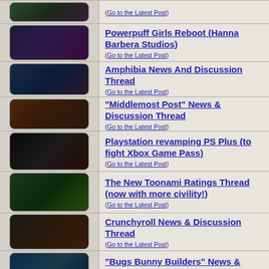(Go to the Latest Post)
Powerpuff Girls Reboot (Hanna Barbera Studios)
(Go to the Latest Post)
Amphibia News And Discussion Thread
(Go to the Latest Post)
"Middlemost Post" News & Discussion Thread
(Go to the Latest Post)
Playstation revamping PS Plus (to fight Xbox Game Pass)
(Go to the Latest Post)
The New Toonami Ratings Thread (now with more civility!)
(Go to the Latest Post)
Crunchyroll News & Discussion Thread
(Go to the Latest Post)
"Bugs Bunny Builders" News & Discussion Thread (Spoilers)
(Go to the Latest Post)